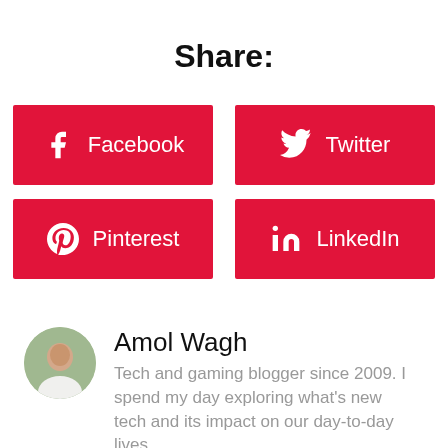Share:
[Figure (infographic): Four social share buttons in a 2x2 grid: Facebook, Twitter, Pinterest, LinkedIn — all with crimson red background and white icons/text]
Amol Wagh
Tech and gaming blogger since 2009. I spend my day exploring what's new tech and its impact on our day-to-day lives